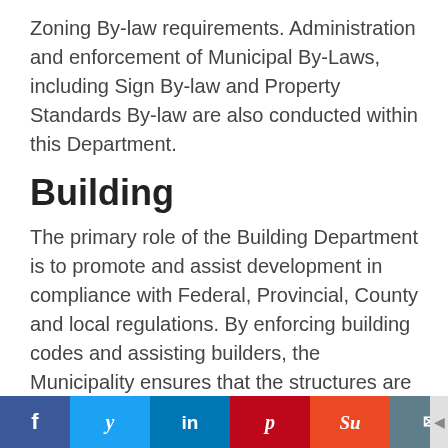Zoning By-law requirements. Administration and enforcement of Municipal By-Laws, including Sign By-law and Property Standards By-law are also conducted within this Department.
Building
The primary role of the Building Department is to promote and assist development in compliance with Federal, Provincial, County and local regulations. By enforcing building codes and assisting builders, the Municipality ensures that the structures are safe, not only for today but for many years to come.
Social share buttons: Facebook, Twitter, LinkedIn, Pinterest, StumbleUpon, Email | or